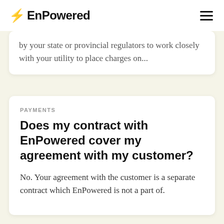EnPowered
by your state or provincial regulators to work closely with your utility to place charges on...
PAYMENTS
Does my contract with EnPowered cover my agreement with my customer?
No. Your agreement with the customer is a separate contract which EnPowered is not a part of.